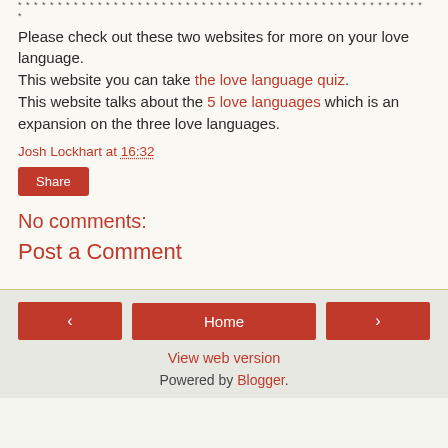* * * * * * * * * * * * * * * * * * * * * * * * * * * * * * * * * * * * * * * * * * * * * * *
Please check out these two websites for more on your love language. This website you can take the love language quiz. This website talks about the 5 love languages which is an expansion on the three love languages.
Josh Lockhart at 16:32
Share
No comments:
Post a Comment
< Home > View web version Powered by Blogger.